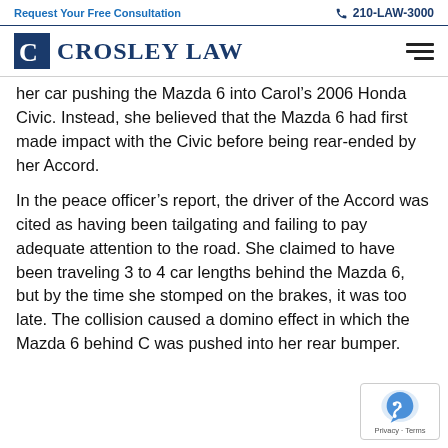Request Your Free Consultation   📞 210-LAW-3000
[Figure (logo): Crosley Law firm logo with stylized C icon and text 'CROSLEY LAW']
her car pushing the Mazda 6 into Carol's 2006 Honda Civic. Instead, she believed that the Mazda 6 had first made impact with the Civic before being rear-ended by her Accord.
In the peace officer's report, the driver of the Accord was cited as having been tailgating and failing to pay adequate attention to the road. She claimed to have been traveling 3 to 4 car lengths behind the Mazda 6, but by the time she stomped on the brakes, it was too late. The collision caused a domino effect in which the Mazda 6 behind C… was pushed into her rear bumper.